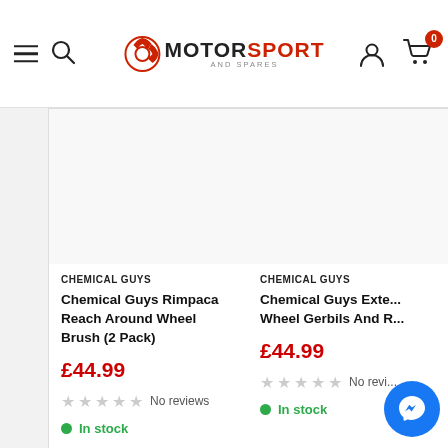Motorsport And Spares
CHEMICAL GUYS
Chemical Guys Rimpaca Reach Around Wheel Brush (2 Pack)
£44.99
No reviews
In stock
CHEMICAL GUYS
Chemical Guys Exte... Wheel Gerbils And R...
£44.99
No revi...
In stock